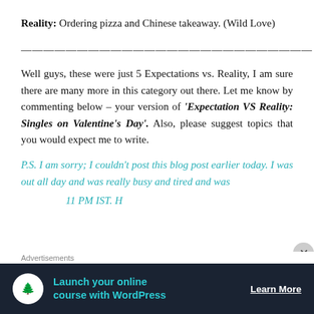Reality: Ordering pizza and Chinese takeaway. (Wild Love)
——————————————————
Well guys, these were just 5 Expectations vs. Reality, I am sure there are many more in this category out there. Let me know by commenting below – your version of 'Expectation VS Reality: Singles on Valentine's Day'. Also, please suggest topics that you would expect me to write.
P.S. I am sorry; I couldn't post this blog post earlier today. I was out all day and was really busy and tired and was ... at 11 PM IST. However, I am sorry. (
[Figure (other): Advertisement banner for WordPress online course with dark background, teal text and icon, and Learn More button]